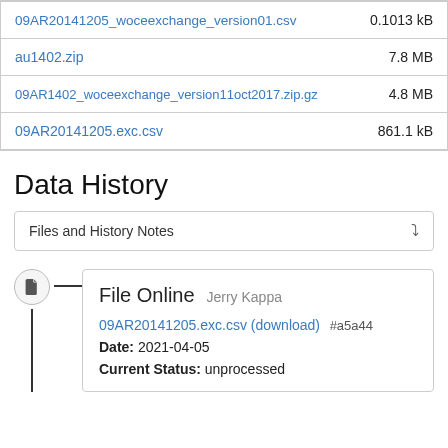| filename | size |
| --- | --- |
| 09AR20141205_woceexchange_version01.csv | 0.1013 kB |
| au1402.zip | 7.8 MB |
| 09AR1402_woceexchange_version11oct2017.zip.gz | 4.8 MB |
| 09AR20141205.exc.csv | 861.1 kB |
Data History
Files and History Notes
File Online Jerry Kappa
09AR20141205.exc.csv (download) #a5a44
Date: 2021-04-05
Current Status: unprocessed